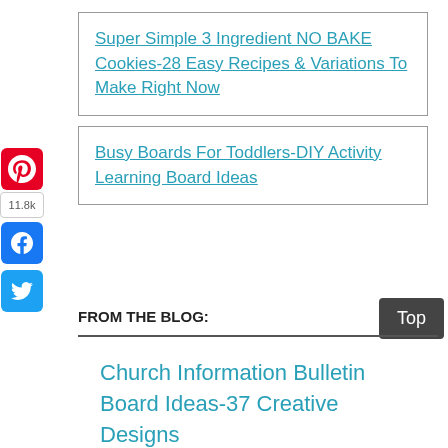Super Simple 3 Ingredient NO BAKE Cookies-28 Easy Recipes & Variations To Make Right Now
Busy Boards For Toddlers-DIY Activity Learning Board Ideas
FROM THE BLOG:
Church Information Bulletin Board Ideas-37 Creative Designs